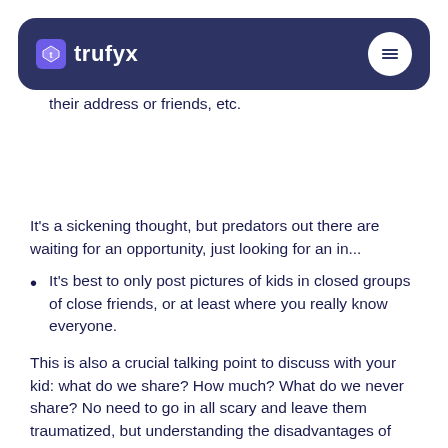It would be best if you didn't have unknown followers viewing personal stuff like pictures and details about their address or friends, etc.
[Figure (logo): Trufyx navigation bar with purple logo icon, white 'trufyx' text on dark navy background, and white circular hamburger menu button on the right]
It's a sickening thought, but predators out there are waiting for an opportunity, just looking for an in...
It's best to only post pictures of kids in closed groups of close friends, or at least where you really know everyone.
This is also a crucial talking point to discuss with your kid: what do we share? How much? What do we never share? No need to go in all scary and leave them traumatized, but understanding the disadvantages of sharing everything on social media is essential. If needed, help your kid set up the